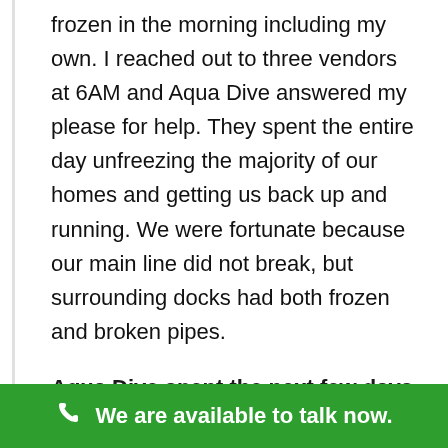frozen in the morning including my own. I reached out to three vendors at 6AM and Aqua Dive answered my please for help. They spent the entire day unfreezing the majority of our homes and getting us back up and running. We were fortunate because our main line did not break, but surrounding docks had both frozen and broken pipes.
Aqua Dive spent the next few days working tirelessly
We are available to talk now.